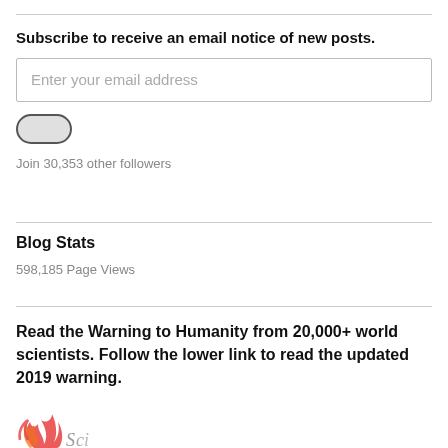Subscribe to receive an email notice of new posts.
[Figure (other): Email address input field with placeholder text 'Enter your email address']
[Figure (other): Toggle button (pill-shaped, grey/off state)]
Join 30,353 other followers
Blog Stats
598,185 Page Views
Read the Warning to Humanity from 20,000+ world scientists. Follow the lower link to read the updated 2019 warning.
[Figure (logo): Partial flame/scientists logo at bottom]